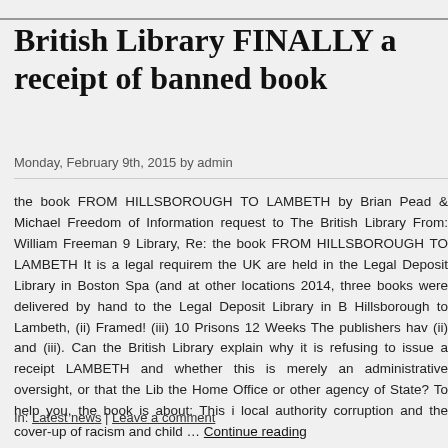British Library FINALLY acknowledges receipt of banned book
Monday, February 9th, 2015 by admin
the book FROM HILLSBOROUGH TO LAMBETH by Brian Pead & Michael … Freedom of Information request to The British Library From: William Freeman S… Library, Re: the book FROM HILLSBOROUGH TO LAMBETH It is a legal requirem… the UK are held in the Legal Deposit Library in Boston Spa (and at other locations… 2014, three books were delivered by hand to the Legal Deposit Library in B… Hillsborough to Lambeth, (ii) Framed! (iii) 10 Prisons 12 Weeks The publishers hav… (ii) and (iii). Can the British Library explain why it is refusing to issue a receipt… LAMBETH and whether this is merely an administrative oversight, or that the Lib… the Home Office or other agency of State? To help you, the book is about: This i… local authority corruption and the cover-up of racism and child … Continue reading
In: Latest news | Leave a comment